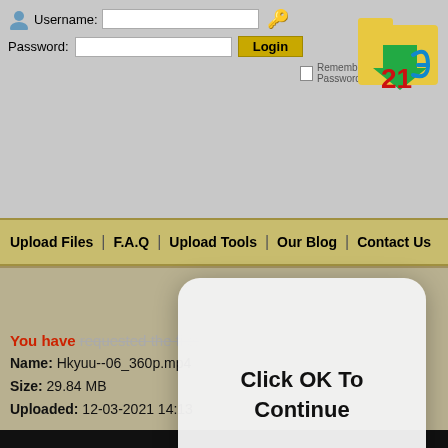[Figure (screenshot): Website login form with username and password fields and a Login button]
Upload Files | F.A.Q | Upload Tools | Our Blog | Contact Us
[Figure (screenshot): Modal dialog popup with text 'Click OK To Continue' and an OK button]
You have requested the file:
Name: Hkyuu--06_360p.mp4
Size: 29.84 MB
Uploaded: 12-03-2021 14:13